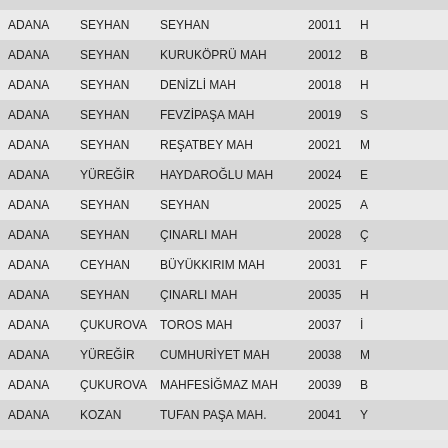| İL | İLÇE | MAHALLE | KOD |  |
| --- | --- | --- | --- | --- |
| ADANA | SEYHAN | SEYHAN | 20011 | H |
| ADANA | SEYHAN | KURUKÖPRÜ MAH | 20012 | B |
| ADANA | SEYHAN | DENİZLİ MAH | 20018 | H |
| ADANA | SEYHAN | FEVZİPAŞA MAH | 20019 | S |
| ADANA | SEYHAN | REŞATBEY MAH | 20021 | M |
| ADANA | YÜREĞİR | HAYDAROĞLU MAH | 20024 | E |
| ADANA | SEYHAN | SEYHAN | 20025 | A |
| ADANA | SEYHAN | ÇINARLI MAH | 20028 | Ç |
| ADANA | CEYHAN | BÜYÜKKIRIM MAH | 20031 | F |
| ADANA | SEYHAN | ÇINARLI MAH | 20035 | H |
| ADANA | ÇUKUROVA | TOROS MAH | 20037 | İ |
| ADANA | YÜREĞİR | CUMHURİYET MAH | 20038 | M |
| ADANA | ÇUKUROVA | MAHFESİĞMAZ MAH | 20039 | B |
| ADANA | KOZAN | TUFAN PAŞA MAH. | 20041 | Y |